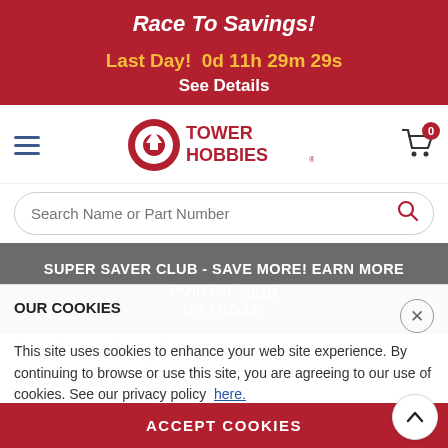Race To Savings! Last Day! 0d 11h 29m 29s See Details
[Figure (logo): Tower Hobbies logo with hamburger menu and shopping cart icon showing 0 items]
Search Name or Part Number
SUPER SAVER CLUB - SAVE MORE! EARN MORE POINTS! SIGN UP TODAY!
Shop > Trains > Scenery/Supplies & More > Scenery
OUR COOKIES
This site uses cookies to enhance your web site experience. By continuing to browse or use this site, you are agreeing to our use of cookies. See our privacy policy here.
Medium Ballast Bag, Iron Ore/18 cu.
ACCEPT COOKIES